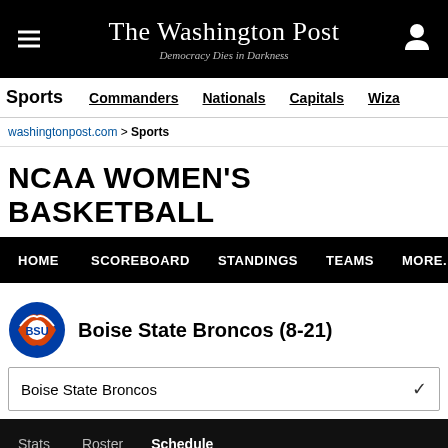The Washington Post — Democracy Dies in Darkness
Sports | Commanders | Nationals | Capitals | Wiza
washingtonpost.com > Sports
NCAA WOMEN'S BASKETBALL
HOME | SCOREBOARD | STANDINGS | TEAMS | MORE...
Boise State Broncos (8-21)
Boise State Broncos
Stats   Roster   Schedule
Schedule